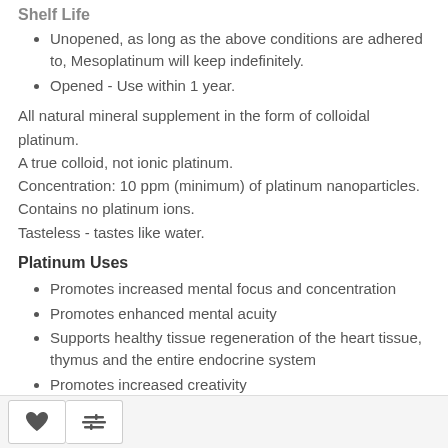Shelf Life
Unopened, as long as the above conditions are adhered to, Mesoplatinum will keep indefinitely.
Opened - Use within 1 year.
All natural mineral supplement in the form of colloidal platinum.
A true colloid, not ionic platinum.
Concentration: 10 ppm (minimum) of platinum nanoparticles.
Contains no platinum ions.
Tasteless - tastes like water.
Platinum Uses
Promotes increased mental focus and concentration
Promotes enhanced mental acuity
Supports healthy tissue regeneration of the heart tissue, thymus and the entire endocrine system
Promotes increased creativity
Promotes lucid dreaming
Promotes improved memory
Supports DNA repair
Promotes increased libido in both males and females